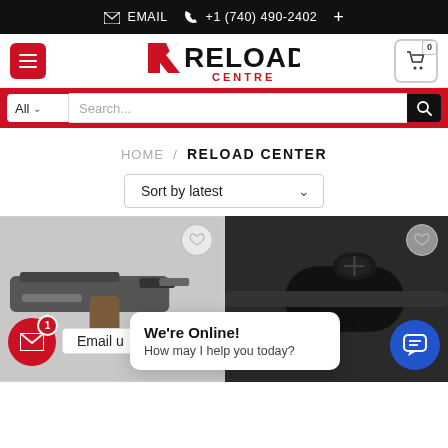EMAIL  +1 (740) 490-2402  +
[Figure (logo): Reload Centre logo with red R arrow mark and bold text]
[Figure (screenshot): Search bar with All dropdown, search input, and black search button on red background]
HOME / RELOAD CENTER
Sort by latest
[Figure (photo): Two product photos: left shows a pistol with wooden grip, right shows a rifle scope. Wishlist heart buttons visible. Email FAB, chat popup 'We're Online! How may I help you today?', and blue chat FAB visible.]